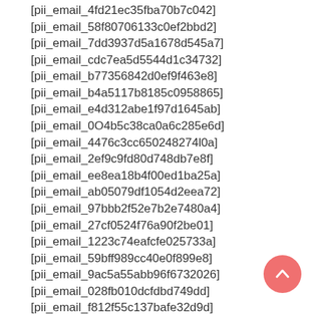[pii_email_4fd21ec35fba70b7c042]
[pii_email_58f80706133c0ef2bbd2]
[pii_email_7dd3937d5a1678d545a7]
[pii_email_cdc7ea5d5544d1c34732]
[pii_email_b77356842d0ef9f463e8]
[pii_email_b4a5117b8185c0958865]
[pii_email_e4d312abe1f97d1645ab]
[pii_email_0O4b5c38ca0a6c285e6d]
[pii_email_4476c3cc650248274l0a]
[pii_email_2ef9c9fd80d748db7e8f]
[pii_email_ee8ea18b4f00ed1ba25a]
[pii_email_ab05079df1054d2eea72]
[pii_email_97bbb2f52e7b2e7480a4]
[pii_email_27cf0524f76a90f2be01]
[pii_email_1223c74eafcfe025733a]
[pii_email_59bff989cc40e0f899e8]
[pii_email_9ac5a55abb96f6732026]
[pii_email_028fb010dcfdbd749dd]
[pii_email_f812f55c137bafe32d9d]
[pii_email_088a8f8d216f06c1cc1a]
[pii_email_da30d7b06d01333cb001]